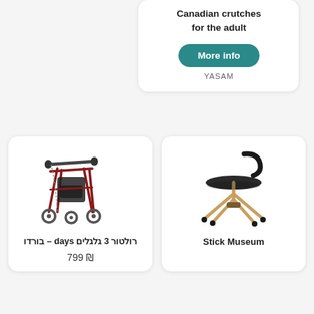Canadian crutches for the adult
More info
YASAM
[Figure (photo): Red rollator walker with 3 wheels and a black bag]
רולטור 3 גלגלים days – בורדו
₪ 799
[Figure (photo): Stick Museum - foldable seat/stick combo in gold and black]
Stick Museum